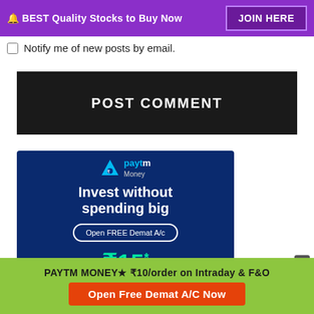🔔 BEST Quality Stocks to Buy Now   JOIN HERE
Notify me of new posts by email.
POST COMMENT
[Figure (advertisement): Paytm Money advertisement: 'Invest without spending big' with 'Open FREE Demat A/c' button and phone graphic showing ₹15*]
PAYTM MONEY★ ₹10/order on Intraday & F&O
Open Free Demat A/C Now